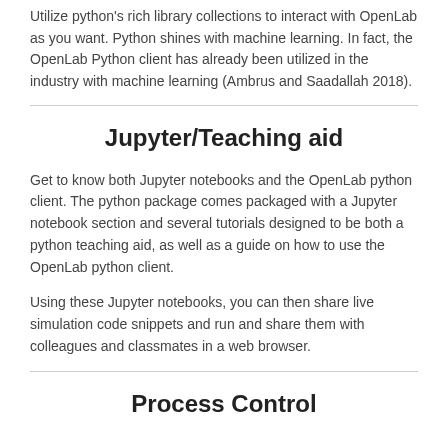Utilize python's rich library collections to interact with OpenLab as you want. Python shines with machine learning. In fact, the OpenLab Python client has already been utilized in the industry with machine learning (Ambrus and Saadallah 2018).
Jupyter/Teaching aid
Get to know both Jupyter notebooks and the OpenLab python client. The python package comes packaged with a Jupyter notebook section and several tutorials designed to be both a python teaching aid, as well as a guide on how to use the OpenLab python client.
Using these Jupyter notebooks, you can then share live simulation code snippets and run and share them with colleagues and classmates in a web browser.
Process Control